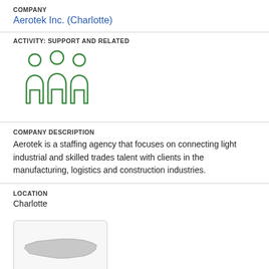COMPANY
Aerotek Inc. (Charlotte)
ACTIVITY: SUPPORT AND RELATED
[Figure (illustration): Green icon of three people/figures representing staffing or workforce]
COMPANY DESCRIPTION
Aerotek is a staffing agency that focuses on connecting light industrial and skilled trades talent with clients in the manufacturing, logistics and construction industries.
LOCATION
Charlotte
[Figure (map): Small map thumbnail showing North Carolina state outline in gray]